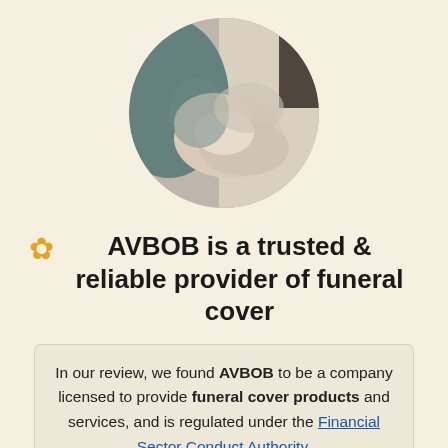[Figure (photo): Circular cropped photo showing hands of two people shaking or holding hands, blurred, with a teal/green fabric visible in the background.]
AVBOB is a trusted & reliable provider of funeral cover
In our review, we found AVBOB to be a company licensed to provide funeral cover products and services, and is regulated under the Financial Sector Conduct Authority.